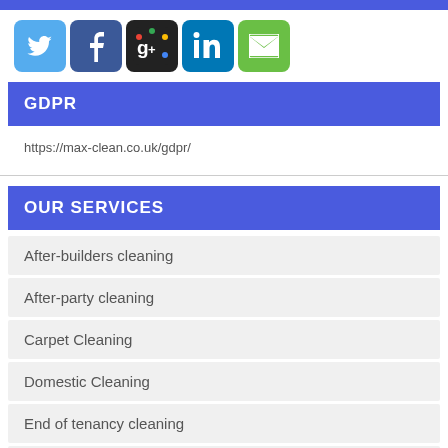[Figure (infographic): Social media icons row: Twitter (blue bird), Facebook (dark blue f), Google+ (colorful g+), LinkedIn (blue in), Email (green envelope)]
GDPR
https://max-clean.co.uk/gdpr/
OUR SERVICES
After-builders cleaning
After-party cleaning
Carpet Cleaning
Domestic Cleaning
End of tenancy cleaning
Office Cleaning